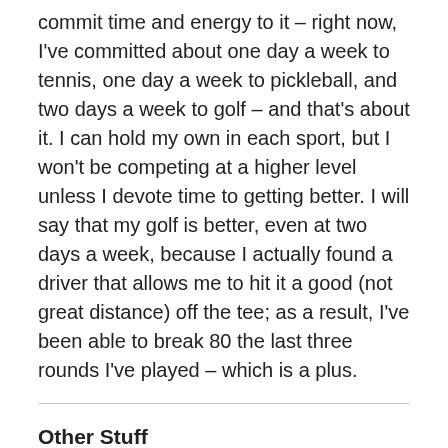commit time and energy to it – right now, I've committed about one day a week to tennis, one day a week to pickleball, and two days a week to golf – and that's about it. I can hold my own in each sport, but I won't be competing at a higher level unless I devote time to getting better. I will say that my golf is better, even at two days a week, because I actually found a driver that allows me to hit it a good (not great distance) off the tee; as a result, I've been able to break 80 the last three rounds I've played – which is a plus.
Other Stuff
This semester, I decided to do something a little different in my class. I know that many of our first-year students value their connection with family, even more than with